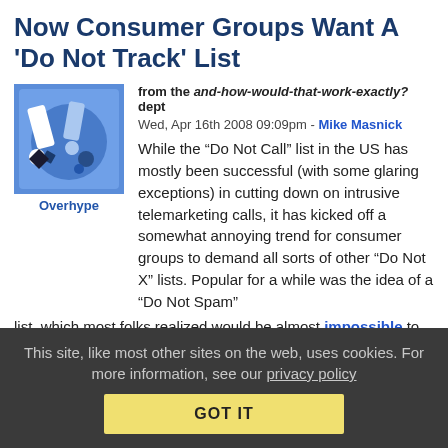Now Consumer Groups Want A 'Do Not Track' List
from the and-how-would-that-work-exactly? dept
Wed, Apr 16th 2008 09:09pm - Mike Masnick
[Figure (illustration): Blue illustration with exclamation marks, labeled 'Overhype']
While the “Do Not Call” list in the US has mostly been successful (with some glaring exceptions) in cutting down on intrusive telemarketing calls, it has kicked off a somewhat annoying trend for consumer groups to demand all sorts of other “Do Not X” lists. Popular for a while was the idea of a “Do Not Spam” list, which most folks realized would be almost impossible to administer. Now, some consumer groups are pushing for a similar “Do Not Track” list, following all of the recent stories about behavioral marketing and clickstream tracking. This list would, its proponents claim, let people opt out of allowing advertisers to track
This site, like most other sites on the web, uses cookies. For more information, see our privacy policy
GOT IT